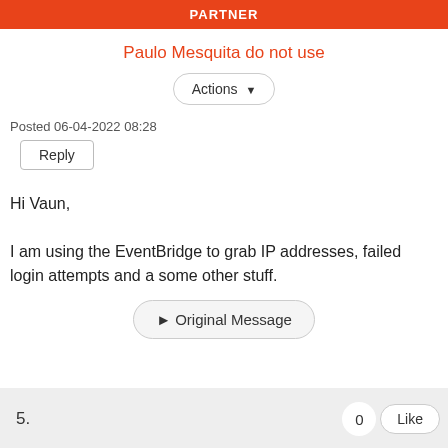PARTNER
Paulo Mesquita do not use
Actions ▼
Posted 06-04-2022 08:28
Reply
Hi Vaun,

I am using the EventBridge to grab IP addresses, failed login attempts and a some other stuff.
▶ Original Message
5.	0	Like